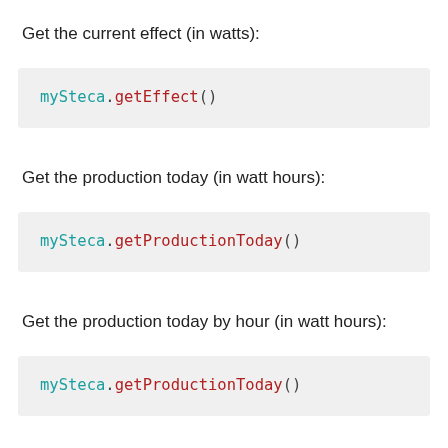Get the current effect (in watts):
mySteca.getEffect()
Get the production today (in watt hours):
mySteca.getProductionToday()
Get the production today by hour (in watt hours):
mySteca.getProductionToday()
Get the production this month (in watt hours):
mySteca.getProductionThisMonth()